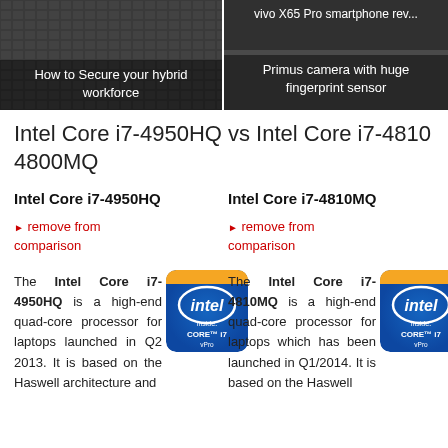[Figure (screenshot): Header bar with two article thumbnails: left shows 'How to Secure your hybrid workforce', right shows 'vivo X65 Pro smartphone review: Primus camera with huge fingerprint sensor']
Intel Core i7-4950HQ vs Intel Core i7-4810MQ 4800MQ
Intel Core i7-4950HQ
► remove from comparison
Intel Core i7-4810MQ
► remove from comparison
The Intel Core i7-4950HQ is a high-end quad-core processor for laptops launched in Q2 2013. It is based on the Haswell architecture and
[Figure (logo): Intel Core i7 vPro inside badge]
The Intel Core i7-4810MQ is a high-end quad-core processor for laptops which has been launched in Q1/2014. It is based on the Haswell
[Figure (logo): Intel Core i7 vPro inside badge]